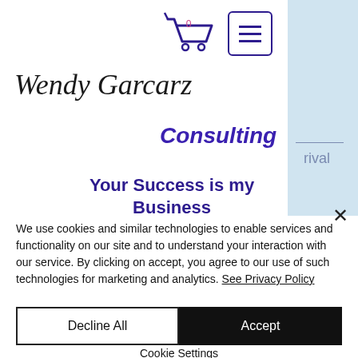[Figure (screenshot): Wendy Garcarz Consulting website header with cart icon, hamburger menu, script logo, and tagline 'Your Success is my Business']
We use cookies and similar technologies to enable services and functionality on our site and to understand your interaction with our service. By clicking on accept, you agree to our use of such technologies for marketing and analytics. See Privacy Policy
Decline All
Accept
Cookie Settings